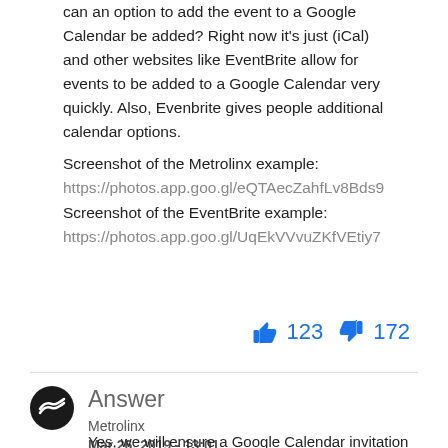can an option to add the event to a Google Calendar be added? Right now it's just (iCal) and other websites like EventBrite allow for events to be added to a Google Calendar very quickly. Also, Evenbrite gives people additional calendar options.
Screenshot of the Metrolinx example:
https://photos.app.goo.gl/eQTAecZahfLv8Bds9
Screenshot of the EventBrite example:
https://photos.app.goo.gl/UqEkVVvuZKfVEtiy7
👍 123  👎 172
Answer
Metrolinx
Mar 26, 2019 - 13:01
Yes, we will ensure a Google Calendar invitation is available for the upcoming